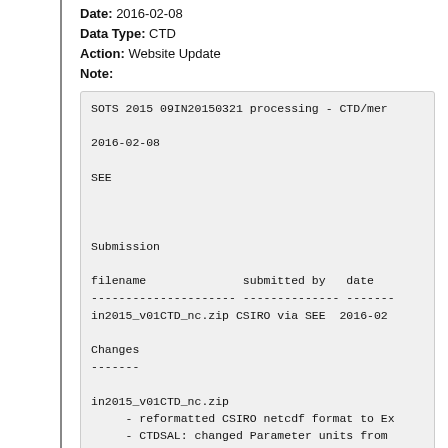Date: 2016-02-08
Data Type: CTD
Action: Website Update
Note:
SOTS 2015 09IN20150321 processing - CTD/mer

2016-02-08

SEE



Submission

filename              submitted by   date
--------------------- -------------- -------
in2015_v01CTD_nc.zip CSIRO via SEE  2016-02

Changes
-------

in2015_v01CTD_nc.zip
     - reformatted CSIRO netcdf format to Ex
     - CTDSAL: changed Parameter units from
     - XMISS:  changed Parameter name transm